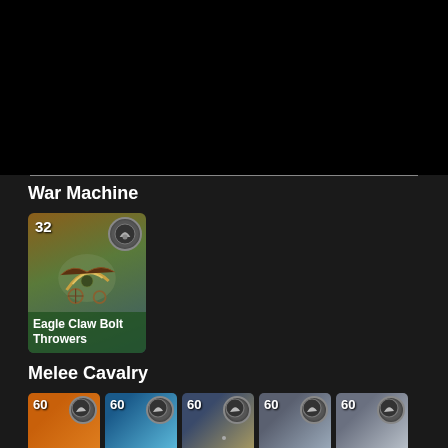[Figure (screenshot): Dark video/image area at top of screen]
War Machine
[Figure (screenshot): Game card: Eagle Claw Bolt Throwers, number 32, war machine unit card with fantasy illustration]
Melee Cavalry
[Figure (screenshot): Five melee cavalry unit cards each showing number 60 with cavalry icon badges]